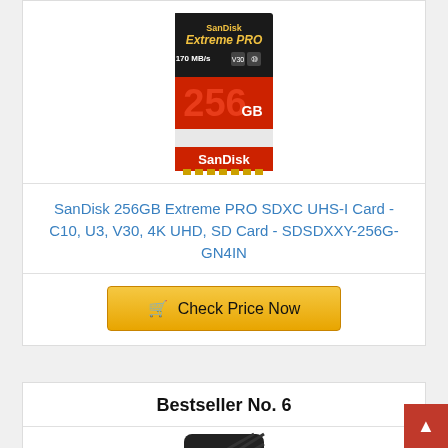[Figure (photo): SanDisk Extreme PRO 256GB SD card product image on white background]
SanDisk 256GB Extreme PRO SDXC UHS-I Card - C10, U3, V30, 4K UHD, SD Card - SDSDXXY-256G-GN4IN
Check Price Now
Bestseller No. 6
[Figure (photo): WD black portable hard drive product image]